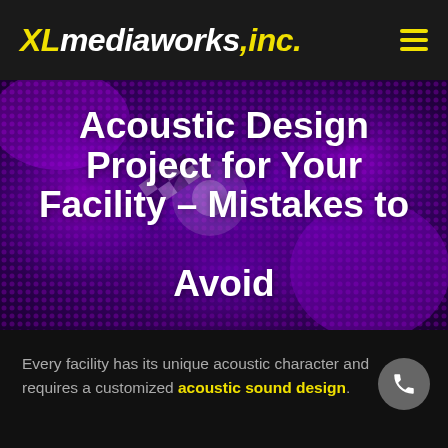XLmediaworks,inc.
[Figure (illustration): Purple/violet abstract bokeh background with a checkerboard diagonal highlight, used as hero image backdrop.]
Acoustic Design Project for Your Facility – Mistakes to Avoid
Every facility has its unique acoustic character and requires a customized acoustic sound design.